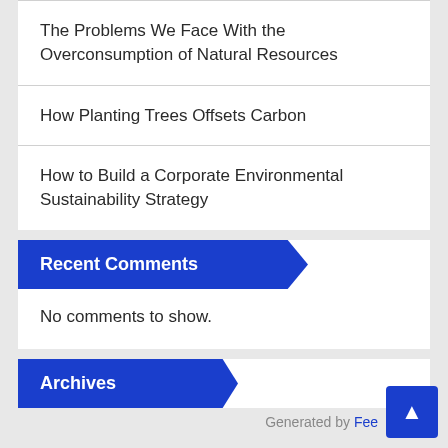The Problems We Face With the Overconsumption of Natural Resources
How Planting Trees Offsets Carbon
How to Build a Corporate Environmental Sustainability Strategy
Recent Comments
No comments to show.
Archives
Generated by Fee